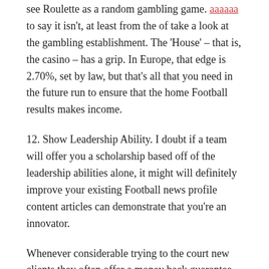see Roulette as a random gambling game. [link] to say it isn't, at least from the of take a look at the gambling establishment. The 'House' – that is, the casino – has a grip. In Europe, that edge is 2.70%, set by law, but that's all that you need in the future run to ensure that the home Football results makes income.
12. Show Leadership Ability. I doubt if a team will offer you a scholarship based off of the leadership abilities alone, it might will definitely improve your existing Football news profile content articles can demonstrate that you're an innovator.
Whenever considerable trying to the court new clients they often offer a money back guarantee you can check out. During this period they hoping demonstrate their skills to a person who is still on the fence.